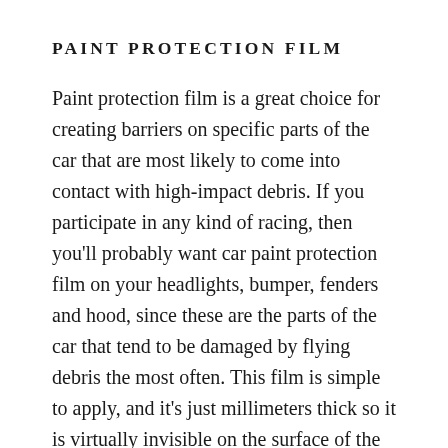PAINT PROTECTION FILM
Paint protection film is a great choice for creating barriers on specific parts of the car that are most likely to come into contact with high-impact debris. If you participate in any kind of racing, then you'll probably want car paint protection film on your headlights, bumper, fenders and hood, since these are the parts of the car that tend to be damaged by flying debris the most often. This film is simple to apply, and it's just millimeters thick so it is virtually invisible on the surface of the car.
3M Scotchgard Paint Protection Film Pro is the